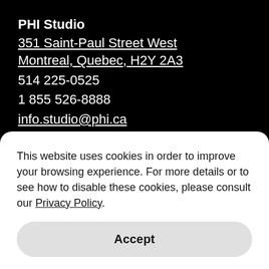PHI Studio
351 Saint-Paul Street West
Montreal, Quebec, H2Y 2A3
514 225-0525
1 855 526-8888
info.studio@phi.ca
Media & Press
Myriam Achard
Chief, New Media Partnerships and PR
514 844-7474 ext. 5104
machard@phi.ca
To browse our press releases, visit the Press section
This website uses cookies in order to improve your browsing experience. For more details or to see how to disable these cookies, please consult our Privacy Policy.
Accept